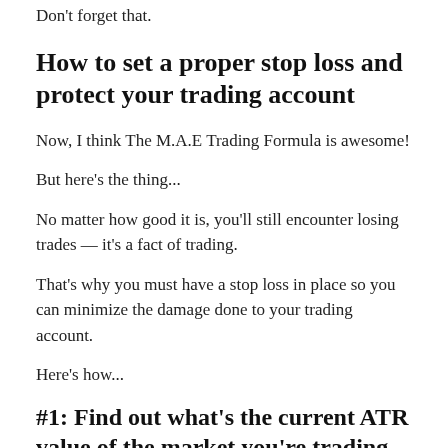Don't forget that.
How to set a proper stop loss and protect your trading account
Now, I think The M.A.E Trading Formula is awesome!
But here's the thing...
No matter how good it is, you'll still encounter losing trades — it's a fact of trading.
That's why you must have a stop loss in place so you can minimize the damage done to your trading account.
Here's how...
#1: Find out what's the current ATR value of the market you're trading